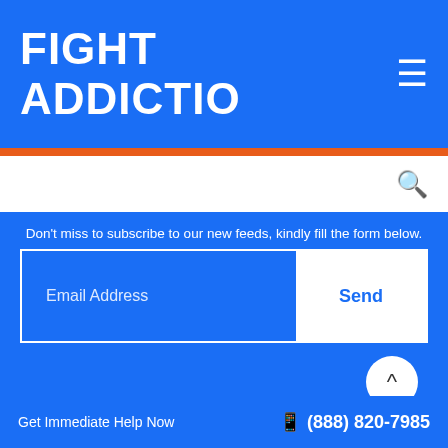FIGHT ADDICTIO ≡
Don't miss to subscribe to our new feeds, kindly fill the form below.
Email Address
Send
Quick Links
Drugs
Get Immediate Help Now  📱 (888) 820-7985